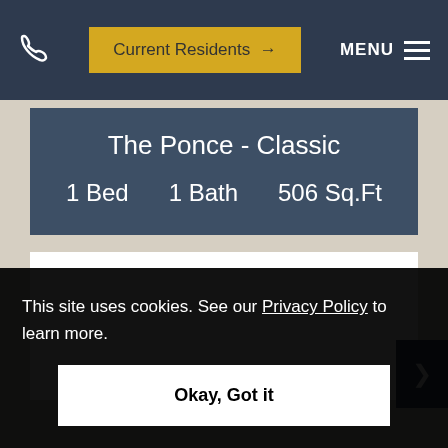Current Residents → MENU
The Ponce - Classic
1 Bed   1 Bath   506 Sq.Ft
[Figure (other): White blank image area for floor plan or photo]
This site uses cookies. See our Privacy Policy to learn more.
Okay, Got it